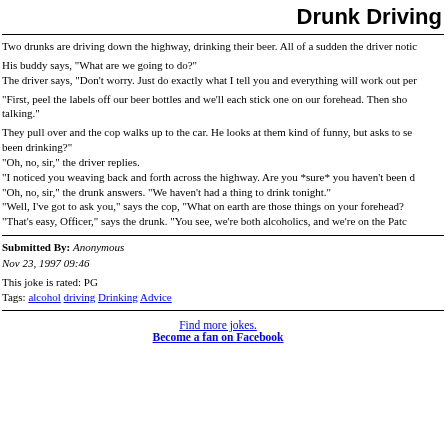Drunk Driving
Two drunks are driving down the highway, drinking their beer. All of a sudden the driver notic
His buddy says, "What are we going to do?"
The driver says, "Don't worry. Just do exactly what I tell you and everything will work out per
"First, peel the labels off our beer bottles and we'll each stick one on our forehead. Then sho talking."
They pull over and the cop walks up to the car. He looks at them kind of funny, but asks to se been drinking?"
"Oh, no, sir," the driver replies.
"I noticed you weaving back and forth across the highway. Are you *sure* you haven't been d "Oh, no, sir," the drunk answers. "We haven't had a thing to drink tonight."
"Well, I've got to ask you," says the cop, "What on earth are those things on your forehead?"
"That's easy, Officer," says the drunk. "You see, we're both alcoholics, and we're on the Patc
Submitted By: Anonymous
Nov 23, 1997 09:46

This joke is rated: PG
Tags: alcohol driving Drinking Advice
Find more jokes.
Become a fan on Facebook